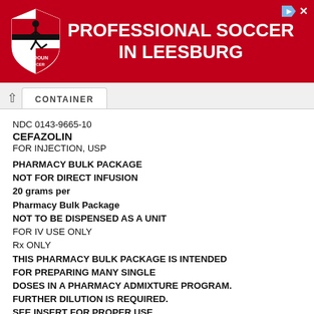[Figure (other): Red banner advertisement for Loudoun Soccer with logo and text PROFESSIONAL SOCCER IN LEESBURG]
CONTAINER (partial, truncated tab label)
NDC 0143-9665-10
CEFAZOLIN
FOR INJECTION, USP
PHARMACY BULK PACKAGE
NOT FOR DIRECT INFUSION
20 grams per
Pharmacy Bulk Package
NOT TO BE DISPENSED AS A UNIT
FOR IV USE ONLY
Rx ONLY
THIS PHARMACY BULK PACKAGE IS INTENDED FOR PREPARING MANY SINGLE DOSES IN A PHARMACY ADMIXTURE PROGRAM. FURTHER DILUTION IS REQUIRED. SEE INSERT FOR PROPER USE.
Each Pharmacy Bulk Package contains sterile cefazolin sodium equivalent to 20 grams